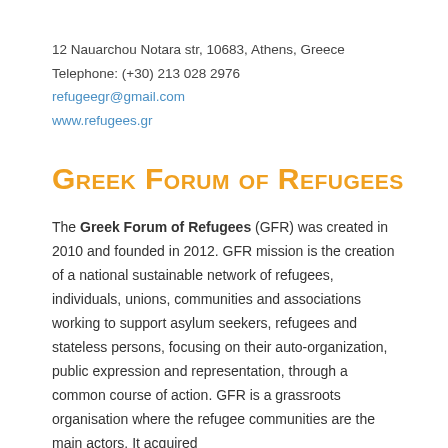12 Nauarchou Notara str, 10683, Athens, Greece
Telephone: (+30) 213 028 2976
refugeegr@gmail.com
www.refugees.gr
Greek Forum of Refugees
The Greek Forum of Refugees (GFR) was created in 2010 and founded in 2012. GFR mission is the creation of a national sustainable network of refugees, individuals, unions, communities and associations working to support asylum seekers, refugees and stateless persons, focusing on their auto-organization, public expression and representation, through a common course of action. GFR is a grassroots organisation where the refugee communities are the main actors. It acquired